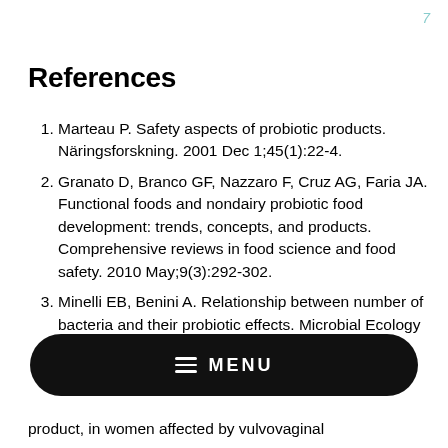7
References
Marteau P. Safety aspects of probiotic products. Näringsforskning. 2001 Dec 1;45(1):22-4.
Granato D, Branco GF, Nazzaro F, Cruz AG, Faria JA. Functional foods and nondairy probiotic food development: trends, concepts, and products. Comprehensive reviews in food science and food safety. 2010 May;9(3):292-302.
Minelli EB, Benini A. Relationship between number of bacteria and their probiotic effects. Microbial Ecology in Health and Disease. 2008 Jan 1;20(4):180-3.
product, in women affected by vulvovaginal